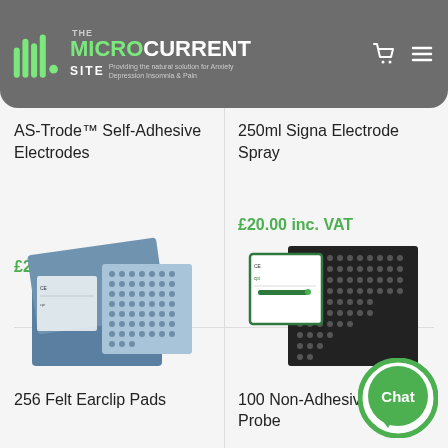[Figure (logo): The Microcurrent Site logo with green wave icon, green and white text, tagline: Providing the natural solution for Anxiety, Depression, Insomnia & Pain]
AS-Trode™ Self-Adhesive Electrodes
250ml Signa Electrode Spray
£24.00 inc. VAT
£20.00 inc. VAT
[Figure (photo): 256 Felt Earclip Pads product image - blue folding case with electrode pads]
[Figure (photo): 100 Non-Adhesive Probe product image - black pad with grid pattern and labeled packet]
256 Felt Earclip Pads
100 Non-Adhesive Probe
[Figure (illustration): Green Chat button circle icon in bottom right corner]